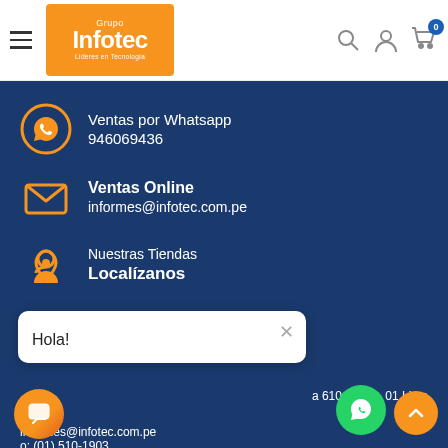[Figure (logo): Grupo Infotec orange logo with tagline 'Líderes en Tecnología']
Ventas por Whatsapp
946069436
Ventas Online
informes@infotec.com.pe
Nuestras Tiendas
Localízanos
Hola!
a 610 - Lima, 01 Lima
01 Lima
informes@infotec.com.pe
o: (01) 510-1903
METODO DE PAGO